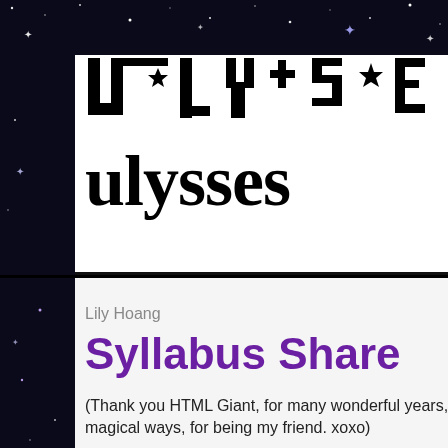[Figure (illustration): Night sky background with scattered white star dots on black background, with decorative silhouette of the word ULYSSES in large block letters at the top forming a jagged skyline shape]
ulysses
Lily Hoang
Syllabus Share
(Thank you HTML Giant, for many wonderful years, magical ways, for being my friend. xoxo)